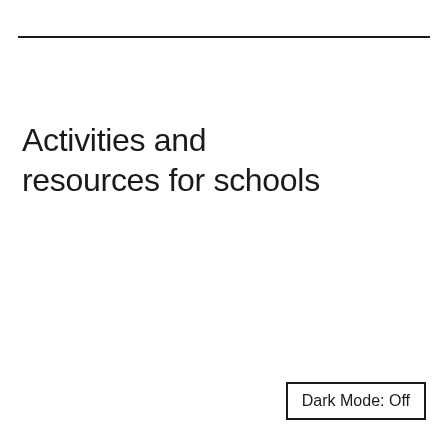Activities and resources for schools
Dark Mode: Off